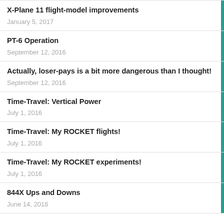X-Plane 11 flight-model improvements
January 5, 2017
PT-6 Operation
September 12, 2016
Actually, loser-pays is a bit more dangerous than I thought!
September 12, 2016
Time-Travel: Vertical Power
July 1, 2016
Time-Travel: My ROCKET flights!
July 1, 2016
Time-Travel: My ROCKET experiments!
July 1, 2016
844X Ups and Downs
June 14, 2016